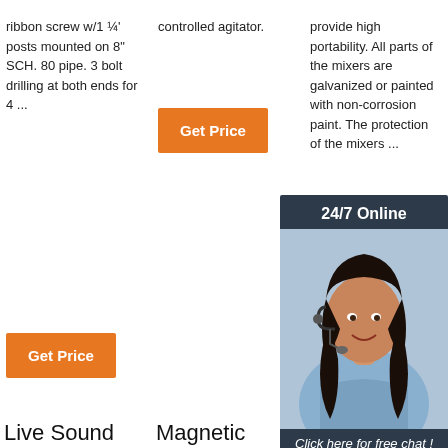ribbon screw w/1 ¼' posts mounted on 8" SCH. 80 pipe. 3 bolt drilling at both ends for 4 ...
controlled agitator.
provide high portability. All parts of the mixers are galvanized or painted with non-corrosion paint. The protection of the mixers ...
[Figure (other): Get Price orange button - column 1]
[Figure (other): Get Price orange button - column 2]
[Figure (other): Get Price orange button - column 3 (partially covered)]
[Figure (other): 24/7 Online chat popup with woman wearing headset, QUOTATION button]
[Figure (photo): Construction equipment/crane photo - column 1 product card]
[Figure (photo): Orange mixing machine photo - column 2 product card]
[Figure (photo): Green excavator photo with TOP watermark - column 3 product card]
Live Sound
Magnetic
Rapid